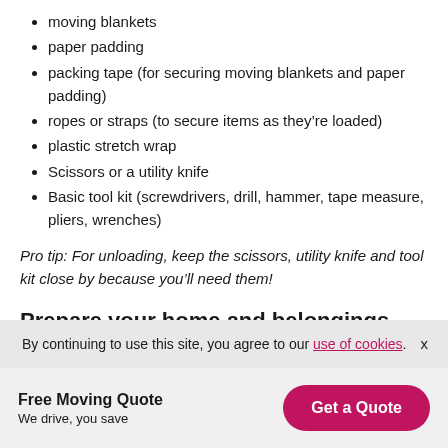moving blankets
paper padding
packing tape (for securing moving blankets and paper padding)
ropes or straps (to secure items as they’re loaded)
plastic stretch wrap
Scissors or a utility knife
Basic tool kit (screwdrivers, drill, hammer, tape measure, pliers, wrenches)
Pro tip: For unloading, keep the scissors, utility knife and tool kit close by because you’ll need them!
Prepare your home and belongings
By continuing to use this site, you agree to our use of cookies.
Free Moving Quote
We drive, you save